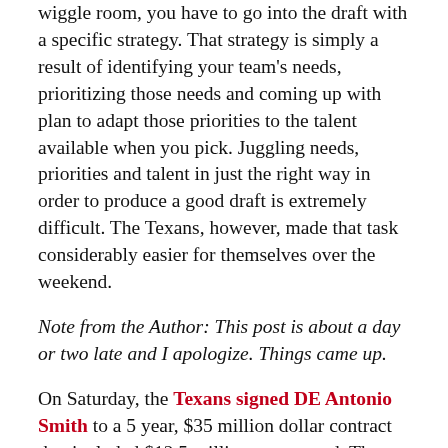wiggle room, you have to go into the draft with a specific strategy.  That strategy is simply a result of identifying your team's needs, prioritizing those needs and coming up with plan to adapt those priorities to the talent available when you pick.  Juggling needs, priorities and talent in just the right way in order to produce a good draft is extremely difficult.  The Texans, however, made that task considerably easier for themselves over the weekend.
Note from the Author:  This post is about a day or two late and I apologize.  Things came up.
On Saturday, the Texans signed DE Antonio Smith to a 5 year, $35 million dollar contract that included $12.5 million guaranteed.  The majority of the reactions to the Smith acquisition among Texans fans seem to be generally lukewarm, with minorities on both the